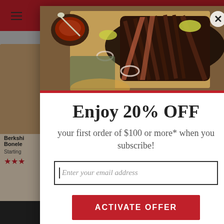[Figure (screenshot): Website screenshot showing a food e-commerce page with a modal popup offering 20% off first order of $100 or more when subscribing by email. Background shows product cards for Berkshire Boneless items with red star ratings. The modal contains a food photo of sliced brisket with sauce, a close button, offer text, email input field, and a red 'ACTIVATE OFFER' button.]
Enjoy 20% OFF
your first order of $100 or more* when you subscribe!
Enter your email address
ACTIVATE OFFER